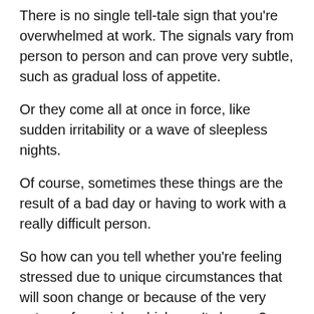There is no single tell-tale sign that you're overwhelmed at work. The signals vary from person to person and can prove very subtle, such as gradual loss of appetite.
Or they come all at once in force, like sudden irritability or a wave of sleepless nights.
Of course, sometimes these things are the result of a bad day or having to work with a really difficult person.
So how can you tell whether you're feeling stressed due to unique circumstances that will soon change or because of the very nature of your job, which won't change?